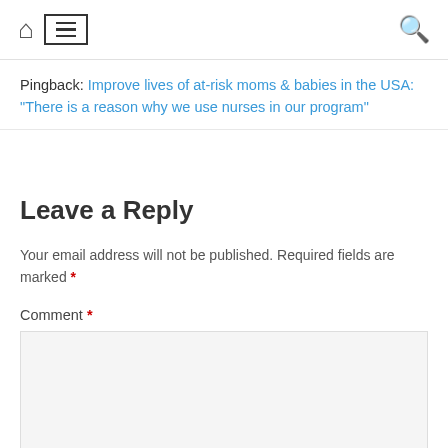[home icon] [menu icon] [search icon]
Pingback: Improve lives of at-risk moms & babies in the USA: "There is a reason why we use nurses in our program"
Leave a Reply
Your email address will not be published. Required fields are marked *
Comment *